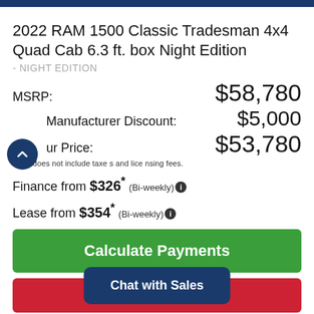2022 RAM 1500 Classic Tradesman 4x4 Quad Cab 6.3 ft. box Night Edition
- NIGHT EDITION
MSRP: $58,780
Manufacturer Discount: $5,000
Our Price: $53,780
Price does not include taxes and licensing fees.
Finance from $326* (Bi-weekly)
Lease from $354* (Bi-weekly)
Calculate Payments
View Details
| Body Style: | Engine: |
| --- | --- |
| Pickup |  |